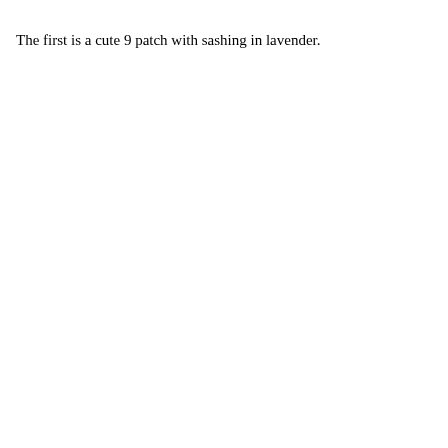The first is a cute 9 patch with sashing in lavender.